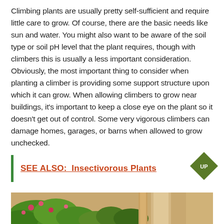Climbing plants are usually pretty self-sufficient and require little care to grow. Of course, there are the basic needs like sun and water. You might also want to be aware of the soil type or soil pH level that the plant requires, though with climbers this is usually a less important consideration. Obviously, the most important thing to consider when planting a climber is providing some support structure upon which it can grow. When allowing climbers to grow near buildings, it's important to keep a close eye on the plant so it doesn't get out of control. Some very vigorous climbers can damage homes, garages, or barns when allowed to grow unchecked.
SEE ALSO:  Insectivorous Plants
[Figure (photo): Photo of climbing plants growing on a wooden structure, showing green foliage and pink flowers with wooden beams visible]